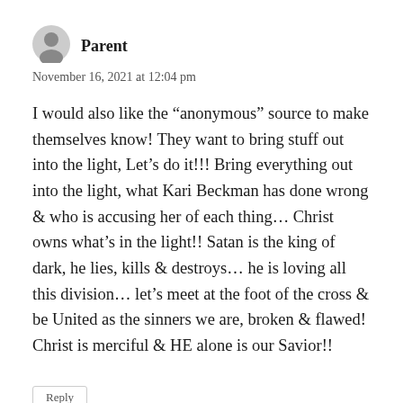Parent
November 16, 2021 at 12:04 pm
I would also like the “anonymous” source to make themselves know! They want to bring stuff out into the light, Let’s do it!!! Bring everything out into the light, what Kari Beckman has done wrong & who is accusing her of each thing… Christ owns what’s in the light!! Satan is the king of dark, he lies, kills & destroys… he is loving all this division… let’s meet at the foot of the cross & be United as the sinners we are, broken & flawed! Christ is merciful & HE alone is our Savior!!